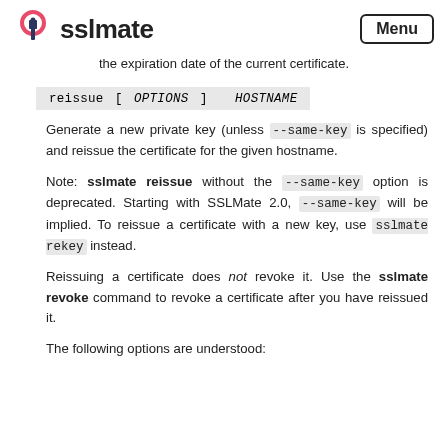sslmate  Menu
the expiration date of the current certificate.
Generate a new private key (unless --same-key is specified) and reissue the certificate for the given hostname.
Note: sslmate reissue without the --same-key option is deprecated. Starting with SSLMate 2.0, --same-key will be implied. To reissue a certificate with a new key, use sslmate rekey instead.
Reissuing a certificate does not revoke it. Use the sslmate revoke command to revoke a certificate after you have reissued it.
The following options are understood: